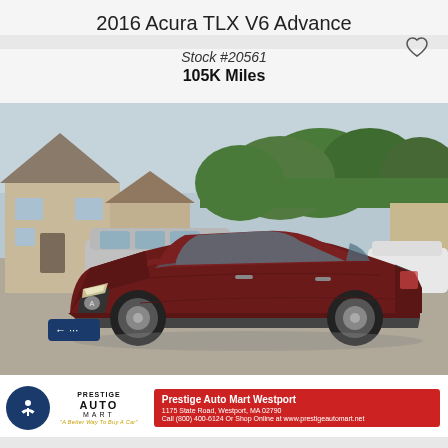2016 Acura TLX V6 Advance
Stock #20561
105K Miles
[Figure (photo): Dark red/maroon 2016 Acura TLX V6 Advance sedan parked in a dealer lot, front three-quarter view. Background shows a beige building, a silver minivan, trees, and another white car. Bottom of image shows Prestige Auto Mart branding with red info bar.]